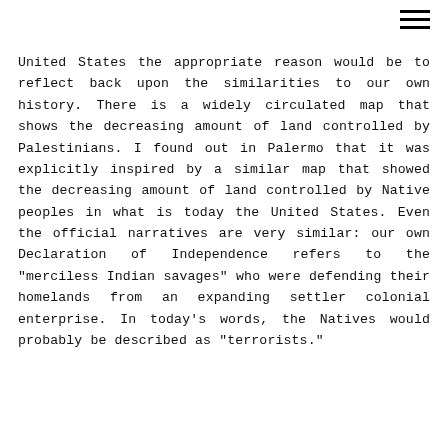United States the appropriate reason would be to reflect back upon the similarities to our own history. There is a widely circulated map that shows the decreasing amount of land controlled by Palestinians. I found out in Palermo that it was explicitly inspired by a similar map that showed the decreasing amount of land controlled by Native peoples in what is today the United States. Even the official narratives are very similar: our own Declaration of Independence refers to the "merciless Indian savages" who were defending their homelands from an expanding settler colonial enterprise. In today's words, the Natives would probably be described as "terrorists."